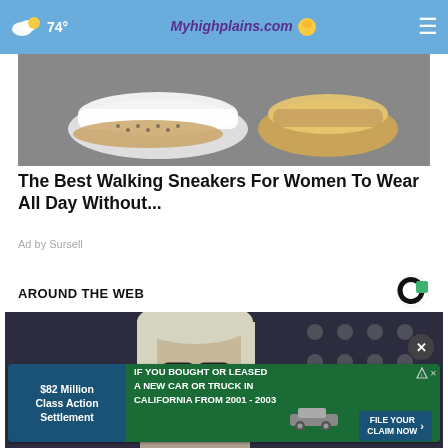74° Myhighplains.com
[Figure (photo): Close-up of white walking sneakers with gold accents on dark background]
The Best Walking Sneakers For Women To Wear All Day Without...
Ad by Sursell
AROUND THE WEB
[Figure (logo): Outbrain logo - black C with green square]
[Figure (photo): Woman with blonde hair and glasses in front of American flag]
$82 Million Class Action Settlement — IF YOU BOUGHT OR LEASED A NEW CAR OR TRUCK IN CALIFORNIA FROM 2001 - 2003 — FILE YOUR CLAIM NOW